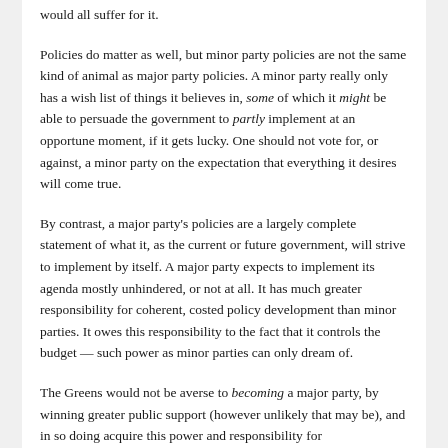would all suffer for it.
Policies do matter as well, but minor party policies are not the same kind of animal as major party policies. A minor party really only has a wish list of things it believes in, some of which it might be able to persuade the government to partly implement at an opportune moment, if it gets lucky. One should not vote for, or against, a minor party on the expectation that everything it desires will come true.
By contrast, a major party’s policies are a largely complete statement of what it, as the current or future government, will strive to implement by itself. A major party expects to implement its agenda mostly unhindered, or not at all. It has much greater responsibility for coherent, costed policy development than minor parties. It owes this responsibility to the fact that it controls the budget — such power as minor parties can only dream of.
The Greens would not be averse to becoming a major party, by winning greater public support (however unlikely that may be), and in so doing acquire this power and responsibility for